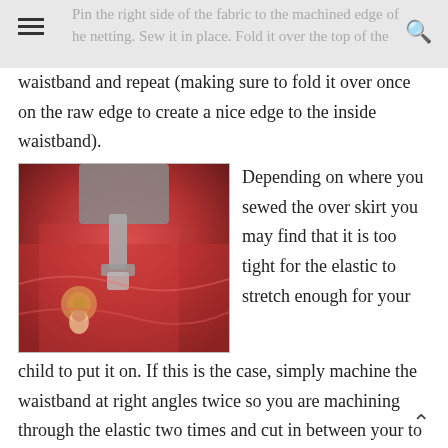Pin the right side of the fabric to the machined edge of the netting. Sew it in place. Fold it over the top of the
waistband and repeat (making sure to fold it over once on the raw edge to create a nice edge to the inside waistband).
[Figure (photo): Close-up photo of a sewing machine stitching red fabric with a decorative matryoshka doll print pattern]
Depending on where you sewed the over skirt you may find that it is too tight for the elastic to stretch enough for your child to put it on. If this is the case, simply machine the waistband at right angles twice so you are machining through the elastic two times and cut in between your to lines. You can then neaten the edges and put a button or hook. This also works well if you want to make